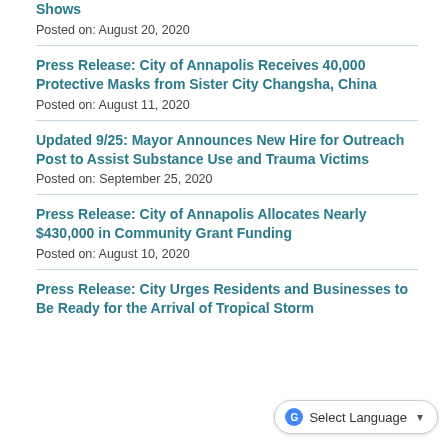Shows
Posted on: August 20, 2020
Press Release: City of Annapolis Receives 40,000 Protective Masks from Sister City Changsha, China
Posted on: August 11, 2020
Updated 9/25: Mayor Announces New Hire for Outreach Post to Assist Substance Use and Trauma Victims
Posted on: September 25, 2020
Press Release: City of Annapolis Allocates Nearly $430,000 in Community Grant Funding
Posted on: August 10, 2020
Press Release: City Urges Residents and Businesses to Be Ready for the Arrival of Tropical Storm